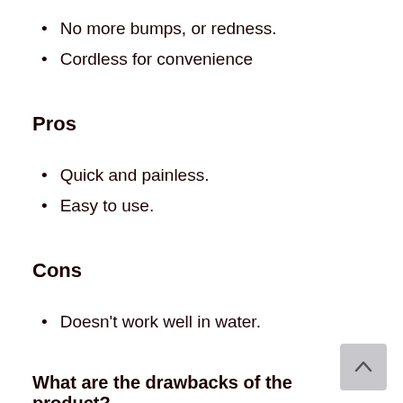No more bumps, or redness.
Cordless for convenience
Pros
Quick and painless.
Easy to use.
Cons
Doesn't work well in water.
What are the drawbacks of the product?
It doesn't work well in water. Additionally, the